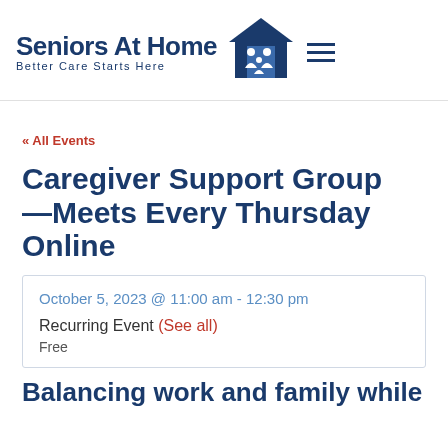Seniors At Home — Better Care Starts Here
« All Events
Caregiver Support Group—Meets Every Thursday Online
October 5, 2023 @ 11:00 am - 12:30 pm
Recurring Event (See all)
Free
Balancing work and family while